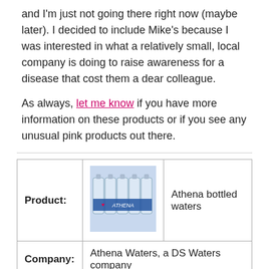and I'm just not going there right now (maybe later). I decided to include Mike's because I was interested in what a relatively small, local company is doing to raise awareness for a disease that cost them a dear colleague.
As always, let me know if you have more information on these products or if you see any unusual pink products out there.
|  |  |  |
| --- | --- | --- |
| Product: | [image of Athena bottled water] | Athena bottled waters |
| Company: | Athena Waters, a DS Waters company |  |
|  |  |  |